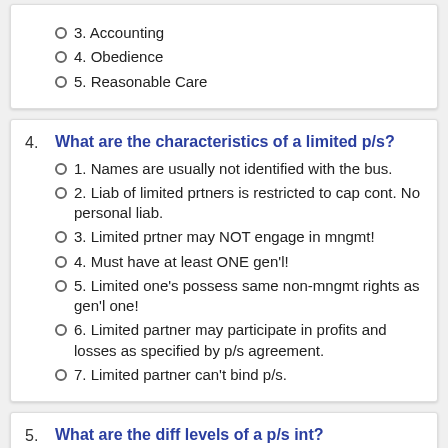3. Accounting
4. Obedience
5. Reasonable Care
4. What are the characteristics of a limited p/s?
1. Names are usually not identified with the bus.
2. Liab of limited prtners is restricted to cap cont. No personal liab.
3. Limited prtner may NOT engage in mngmt!
4. Must have at least ONE gen'l!
5. Limited one's possess same non-mngmt rights as gen'l one!
6. Limited partner may participate in profits and losses as specified by p/s agreement.
7. Limited partner can't bind p/s.
5. What are the diff levels of a p/s int?
1. Gen'l ptner
2. Limited ptner